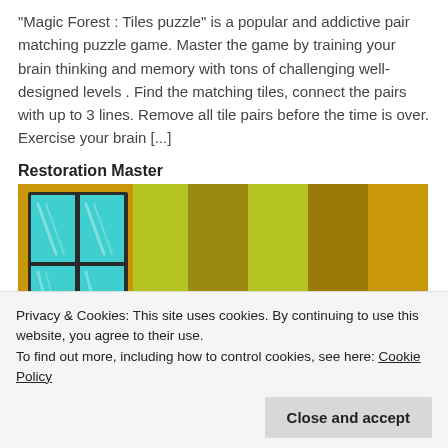“Magic Forest : Tiles puzzle” is a popular and addictive pair matching puzzle game. Master the game by training your brain thinking and memory with tons of challenging well-designed levels . Find the matching tiles, connect the pairs with up to 3 lines. Remove all tile pairs before the time is over. Exercise your brain [...]
Restoration Master
[Figure (illustration): Screenshot of Restoration Master game showing a room with a teal/turquoise window on the left and vertical color strips (yellow-green, olive, gold, yellow-green, dark gold) across the rest of the image.]
Privacy & Cookies: This site uses cookies. By continuing to use this website, you agree to their use.
To find out more, including how to control cookies, see here: Cookie Policy
Close and accept